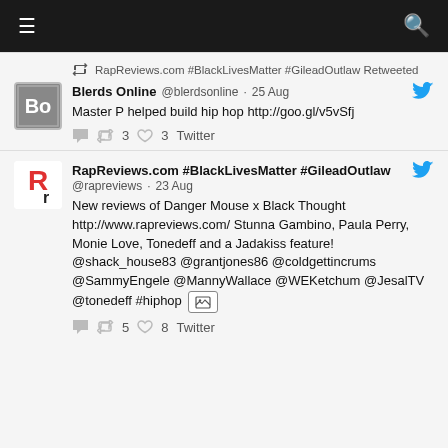☰ [menu] [search]
RapReviews.com #BlackLivesMatter #GileadOutlaw Retweeted
Blerds Online @blerdsonline · 25 Aug
Master P helped build hip hop http://goo.gl/v5vSfj
↺ 3  ♡ 3  Twitter
RapReviews.com #BlackLivesMatter #GileadOutlaw @rapreviews · 23 Aug
New reviews of Danger Mouse x Black Thought http://www.rapreviews.com/ Stunna Gambino, Paula Perry, Monie Love, Tonedeff and a Jadakiss feature! @shack_house83 @grantjones86 @coldgettincrums @SammyEngele @MannyWallace @WEKetchum @JesalTV @tonedeff #hiphop [image]
↺ 5  ♡ 8  Twitter